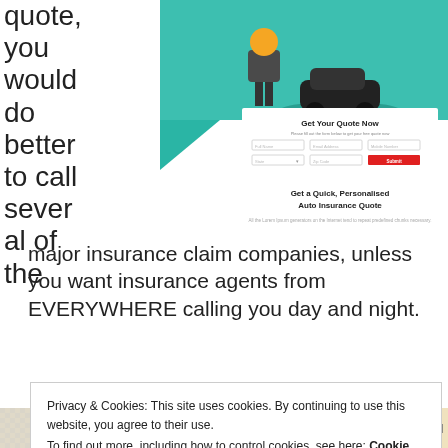[Figure (screenshot): Screenshot of an auto insurance quote website showing a form titled 'Get Your Quote Now' with fields for Full Name, Email Address, Mobile Number, State, Zip Code and a red Submit button. Below that is a section titled 'Get a Quick, Personalised Auto Insurance Quote' with Lorem ipsum description text. The upper right shows a teal/green illustration with a person and a car.]
quote, you would do better to call several of the major insurance claim companies, unless you want insurance agents from EVERYWHERE calling you day and night.
Privacy & Cookies: This site uses cookies. By continuing to use this website, you agree to their use.
To find out more, including how to control cookies, see here: Cookie Policy
Close and accept
abou